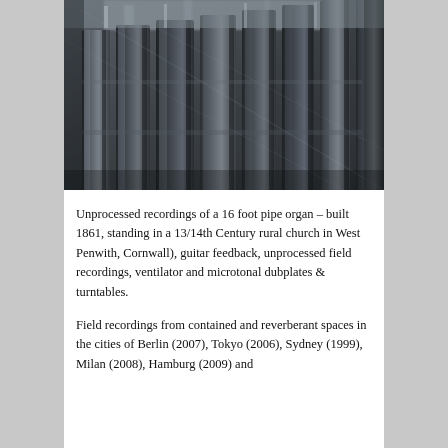[Figure (photo): Close-up photograph of organ pipes, shot from a low angle showing multiple large cylindrical pipes arranged vertically, with a blurred motion effect giving a dynamic, slightly abstract quality. The pipes appear metallic/dark grey in colour.]
Unprocessed recordings of a 16 foot pipe organ – built 1861, standing in a 13/14th Century rural church in West Penwith, Cornwall), guitar feedback, unprocessed field recordings, ventilator and microtonal dubplates & turntables.
Field recordings from contained and reverberant spaces in the cities of Berlin (2007), Tokyo (2006), Sydney (1999), Milan (2008), Hamburg (2009) and